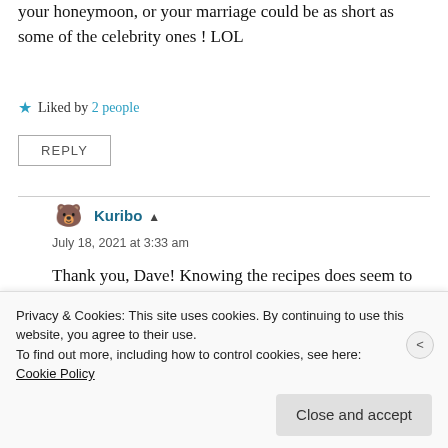your honeymoon, or your marriage could be as short as some of the celebrity ones ! LOL
Liked by 2 people
REPLY
Kuribo
July 18, 2021 at 3:33 am
Thank you, Dave! Knowing the recipes does seem to be helping and I'm trying to be smart
Privacy & Cookies: This site uses cookies. By continuing to use this website, you agree to their use.
To find out more, including how to control cookies, see here:
Cookie Policy